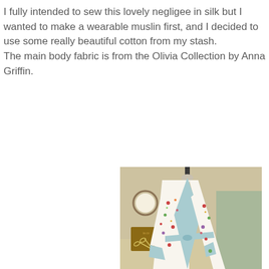I fully intended to sew this lovely negligee in silk but I wanted to make a wearable muslin first, and I decided to use some really beautiful cotton from my stash. The main body fabric is from the Olivia Collection by Anna Griffin.
[Figure (photo): A floral kimono-style robe displayed on a dress form/mannequin. The robe has a white background with colorful floral print and light blue/mint solid fabric for the lapels, cuffs, and sash/belt. The background shows a sewing room with a small embroidery hoop on the wall and a scissors decoration.]